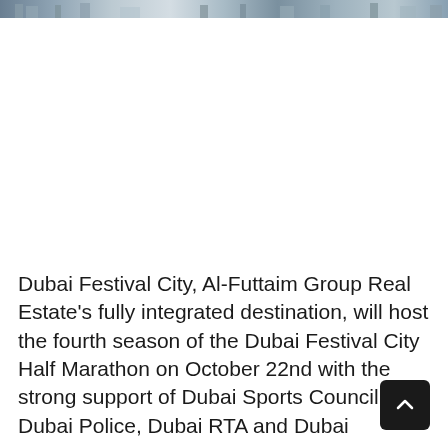[Figure (photo): A narrow horizontal strip at the top showing a partial cityscape or waterfront scene, cropped to just the top edge of the image.]
Dubai Festival City, Al-Futtaim Group Real Estate's fully integrated destination, will host the fourth season of the Dubai Festival City Half Marathon on October 22nd with the strong support of Dubai Sports Council, Dubai Police, Dubai RTA and Dubai ...